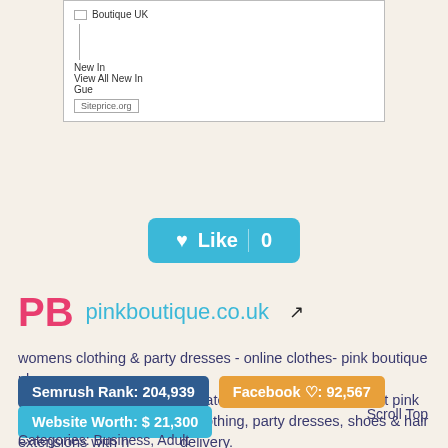[Figure (screenshot): Screenshot of pinkboutique.co.uk website showing navigation menu with 'Boutique UK', 'New In', 'View All New In', 'Gue' items and a Siteprice.org watermark]
[Figure (infographic): Like button with heart icon showing '0' likes on a light beige background]
PB   pinkboutique.co.uk
womens clothing & party dresses - online clothes- pink boutique uk
shop women's clothes & the latest online ladies fashion at pink boutique uk. celeb inspired clothing, party dresses, shoes & hair extensions with next day delivery.
Scroll Top
Semrush Rank: 204,939
Facebook ♡: 92,567
Website Worth: $ 21,300
Categories: Business, Adult